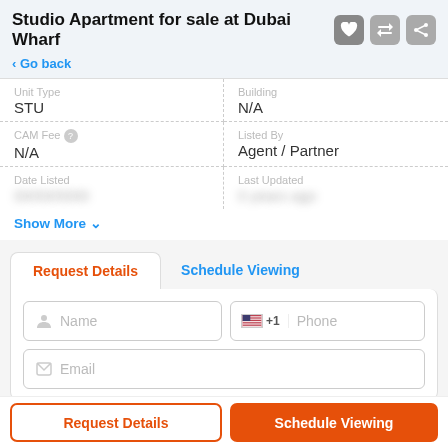Studio Apartment for sale at Dubai Wharf
< Go back
| Field | Value |
| --- | --- |
| Unit Type | STU |
| Building | N/A |
| CAM Fee | N/A |
| Listed By | Agent / Partner |
| Date Listed | [blurred] |
| Last Updated | [blurred] |
Show More ∨
Request Details
Schedule Viewing
Name
+1  Phone
Email
Request Details
Schedule Viewing